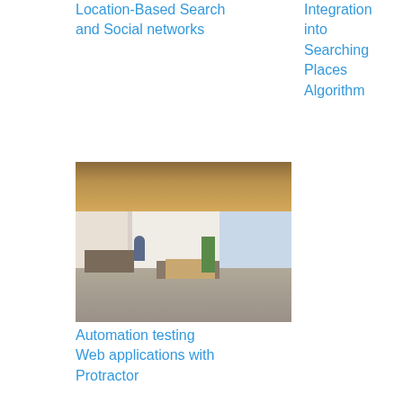Location-Based Search and Social networks
Integration into Searching Places Algorithm
[Figure (photo): Open-plan office interior with exposed ceiling, desks with people working, plants, and seating area]
Automation testing Web applications with Protractor
Dedicated team with Developex
Developex dedicated development team service is the best solution for companies who want to focus on profit